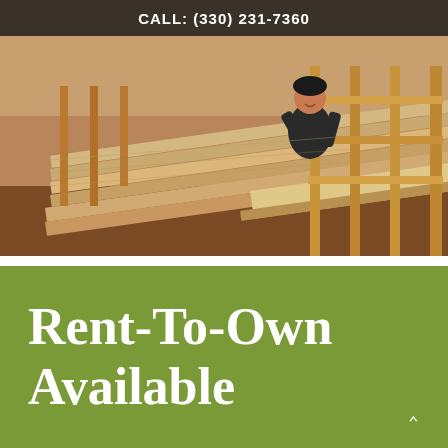CALL: (330) 231-7360
[Figure (photo): Workers in a lumber yard or construction warehouse handling long wooden boards/lumber with wooden framing structures visible in the background.]
Rent-To-Own Available